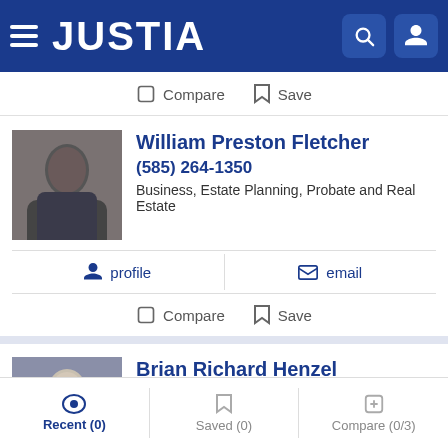JUSTIA
Compare   Save
William Preston Fletcher
(585) 264-1350
Business, Estate Planning, Probate and Real Estate
profile   email
Compare   Save
Brian Richard Henzel
(585) 749-1612  Free Consultation
Business, Arbitration & Mediation, Entertainment & Sports...
Recent (0)   Saved (0)   Compare (0/3)